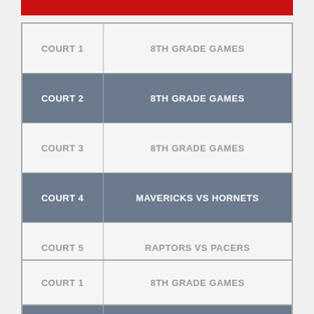| Court | Game |
| --- | --- |
| COURT 1 | 8TH GRADE GAMES |
| COURT 2 | 8TH GRADE GAMES |
| COURT 3 | 8TH GRADE GAMES |
| COURT 4 | MAVERICKS VS HORNETS |
| COURT 5 | RAPTORS VS PACERS |
| COURT 6 | LAKERS VS NETS |
| Court | Game |
| --- | --- |
| COURT 1 | 8TH GRADE GAMES |